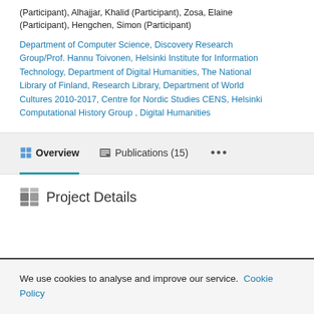(Participant), Alhajjar, Khalid (Participant), Zosa, Elaine (Participant), Hengchen, Simon (Participant)
Department of Computer Science, Discovery Research Group/Prof. Hannu Toivonen, Helsinki Institute for Information Technology, Department of Digital Humanities, The National Library of Finland, Research Library, Department of World Cultures 2010-2017, Centre for Nordic Studies CENS, Helsinki Computational History Group , Digital Humanities
Overview
Publications (15)
Project Details
We use cookies to analyse and improve our service. Cookie Policy